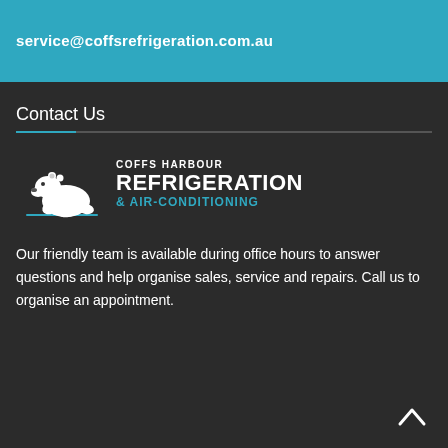service@coffsrefrigeration.com.au
Contact Us
[Figure (logo): Coffs Harbour Refrigeration & Air-Conditioning logo with polar bear illustration and company name text]
Our friendly team is available during office hours to answer questions and help organise sales, service and repairs. Call us to organise an appointment.